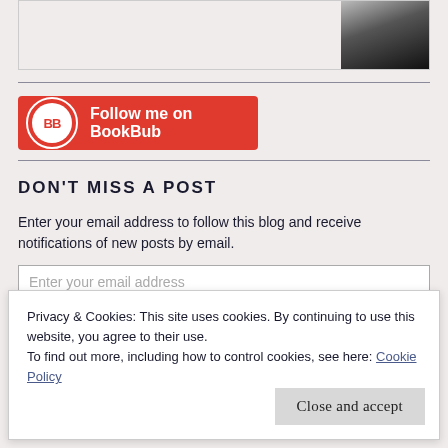[Figure (other): Partial book cover image visible at top of page, dark colored book spine/cover in top right corner]
[Figure (other): BookBub follow button — red rectangular button with BB logo circle on left and text 'Follow me on BookBub' in white]
DON'T MISS A POST
Enter your email address to follow this blog and receive notifications of new posts by email.
Enter your email address
Privacy & Cookies: This site uses cookies. By continuing to use this website, you agree to their use.
To find out more, including how to control cookies, see here: Cookie Policy
Close and accept